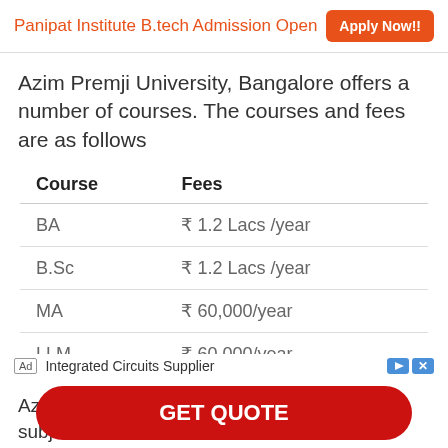Panipat Institute B.tech Admission Open  Apply Now!!
Azim Premji University, Bangalore offers a number of courses. The courses and fees are as follows
| Course | Fees |
| --- | --- |
| BA | ₹ 1.2 Lacs /year |
| B.Sc | ₹ 1.2 Lacs /year |
| MA | ₹ 60,000/year |
| LLM | ₹ 60,000/year |
Azim Premji University, Bangalore fees are subject to
Ad  Integrated Circuits Supplier
GET QUOTE